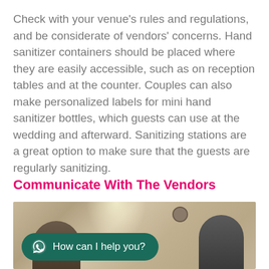Check with your venue's rules and regulations, and be considerate of vendors' concerns. Hand sanitizer containers should be placed where they are easily accessible, such as on reception tables and at the counter. Couples can also make personalized labels for mini hand sanitizer bottles, which guests can use at the wedding and afterward. Sanitizing stations are a great option to make sure that the guests are regularly sanitizing.
Communicate With The Vendors
[Figure (photo): Photo of two people in a meeting or consultation setting, with a clock visible in the background. A WhatsApp chat button overlay appears at the bottom left reading 'How can I help you?']